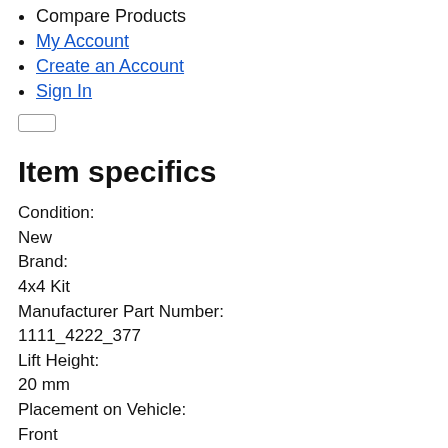Compare Products
My Account
Create an Account
Sign In
Item specifics
Condition:
New
Brand:
4x4 Kit
Manufacturer Part Number:
1111_4222_377
Lift Height:
20 mm
Placement on Vehicle:
Front
Part Type:
Suspension Body Lift Kit
Fitment Type:
Direct Replacement
Greasable or Sealed: